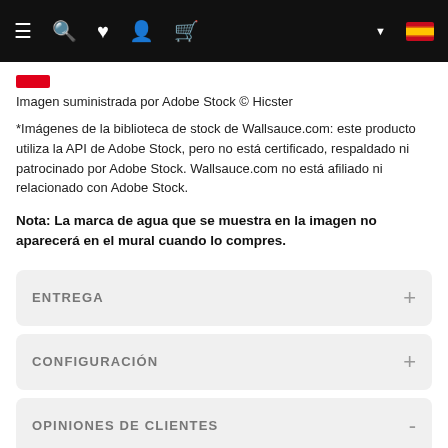Navigation bar with menu, search, wishlist, account, cart icons and Spain flag
Imagen suministrada por Adobe Stock © Hicster
*Imágenes de la biblioteca de stock de Wallsauce.com: este producto utiliza la API de Adobe Stock, pero no está certificado, respaldado ni patrocinado por Adobe Stock. Wallsauce.com no está afiliado ni relacionado con Adobe Stock.
Nota: La marca de agua que se muestra en la imagen no aparecerá en el mural cuando lo compres.
ENTREGA
CONFIGURACIÓN
OPINIONES DE CLIENTES